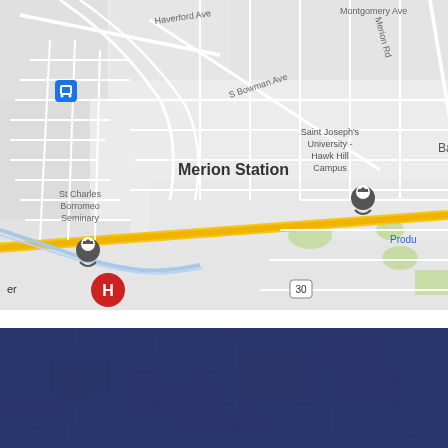[Figure (map): Google Maps screenshot showing Merion Station area in Pennsylvania. Visible landmarks include St Charles Borromeo Seminary, Saint Joseph's University - Hawk Hill Campus, Merion Station label, Haverford Ave, Merion Rd, S Bowman Ave, Montgomery Ave, N 59th St, N 57th St, and Route 30. Blue transit icons and graduation cap markers are visible. A yellow diagonal road (Lancaster Ave/Route 30) crosses the lower portion. A red hospital marker (H) is visible at lower left.]
[Figure (photo): Dark navy/blue footer band with a faded aerial or architectural photograph underneath, used as a decorative page footer element.]